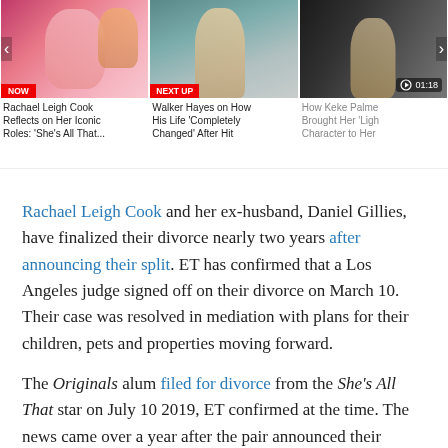[Figure (screenshot): Video thumbnail strip with three video items: NOW - Rachael Leigh Cook, NEXT UP - Walker Hayes, and third with 01:18 timer - How Keke Palme]
Rachael Leigh Cook and her ex-husband, Daniel Gillies, have finalized their divorce nearly two years after announcing their split. ET has confirmed that a Los Angeles judge signed off on their divorce on March 10. Their case was resolved in mediation with plans for their children, pets and properties moving forward.
The Originals alum filed for divorce from the She's All That star on July 10 2019, ET confirmed at the time. The news came over a year after the pair announced their separation.